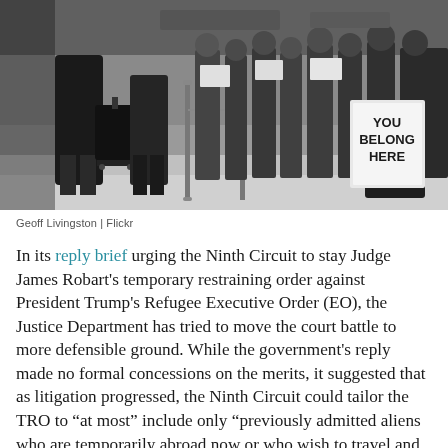[Figure (photo): Black and white photograph of an airport scene. A traveler with rolling luggage walks on the left side, while protesters holding signs stand on the right behind a stanchion barrier. One sign reads 'YOU BELONG HERE'.]
Geoff Livingston | Flickr
In its reply brief urging the Ninth Circuit to stay Judge James Robart’s temporary restraining order against President Trump’s Refugee Executive Order (EO), the Justice Department has tried to move the court battle to more defensible ground. While the government’s reply made no formal concessions on the merits, it suggested that as litigation progressed, the Ninth Circuit could tailor the TRO to “at most” include only “previously admitted aliens who are temporarily abroad now or who wish to travel and return to the United States in the future.” The government’s